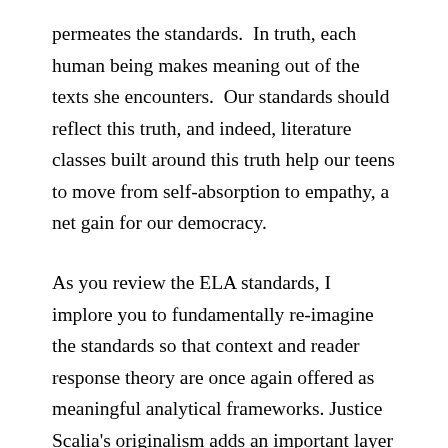permeates the standards.  In truth, each human being makes meaning out of the texts she encounters.  Our standards should reflect this truth, and indeed, literature classes built around this truth help our teens to move from self-absorption to empathy, a net gain for our democracy.
As you review the ELA standards, I implore you to fundamentally re-imagine the standards so that context and reader response theory are once again offered as meaningful analytical frameworks. Justice Scalia's originalism adds an important layer of insight to Constitutional analysis, but his approach is not — nor should it be — the only one available to lawyers and judges.  Similarly, English teachers across New Jersey need standards that allow them the freedom to offer